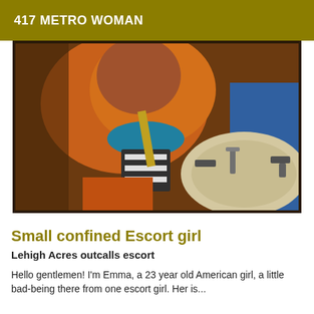417 METRO WOMAN
[Figure (photo): A bathroom mirror selfie photograph showing a person in orange and teal clothing, with a bathroom sink and fixtures visible in the foreground/reflection.]
Small confined Escort girl
Lehigh Acres outcalls escort
Hello gentlemen! I'm Emma, a 23 year old American girl, a little bad-being there from one escort girl. Her is...